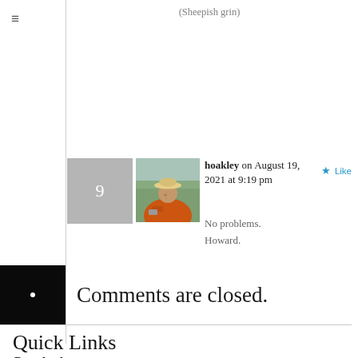(Sheepish grin)
9
[Figure (photo): Avatar photo of a person in an orange jacket and hat, outdoors in a field, looking down at something in their hands.]
hoakley on August 19, 2021 at 9:19 pm
No problems.
Howard.
Like
Comments are closed.
Quick Links
Downloads